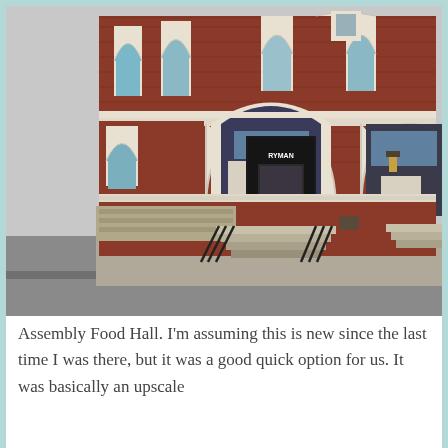[Figure (photo): Exterior photo of the Ryman Auditorium, a historic red brick building with Gothic arched windows, white trim, and entrance steps with black railings. A marquee sign is visible on the left side of the building.]
Assembly Food Hall. I'm assuming this is new since the last time I was there, but it was a good quick option for us. It was basically an upscale food court with all...